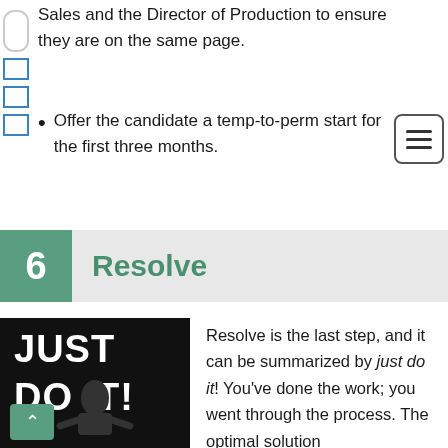Sales and the Director of Production to ensure they are on the same page.
Offer the candidate a temp-to-perm start for the first three months.
6 Resolve
[Figure (photo): Black background image with 'JUST DO IT!' text in large bold white letters, with a man in a dark shirt gesturing. A green back button arrow is in the lower left corner.]
Resolve is the last step, and it can be summarized by just do it! You've done the work; you went through the process. The optimal solution